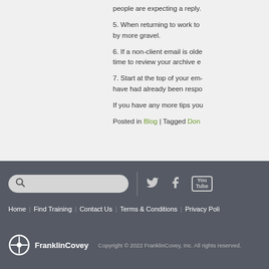people are expecting a reply.
5. When returning to work to by more gravel.
6. If a non-client email is older time to review your archive e
7. Start at the top of your em have had already been respo
If you have any more tips you
Posted in Blog | Tagged Don
Home | Find Training | Contact Us | Terms & Conditions | Privacy Poli
Copyright © 2022 FranklinCovey, Inc. All rights reserved.